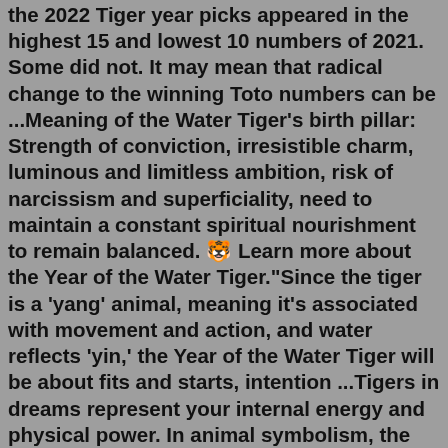the 2022 Tiger year picks appeared in the highest 15 and lowest 10 numbers of 2021. Some did not. It may mean that radical change to the winning Toto numbers can be ...Meaning of the Water Tiger's birth pillar: Strength of conviction, irresistible charm, luminous and limitless ambition, risk of narcissism and superficiality, need to maintain a constant spiritual nourishment to remain balanced. 🐯 Learn more about the Year of the Water Tiger."Since the tiger is a 'yang' animal, meaning it's associated with movement and action, and water reflects 'yin,' the Year of the Water Tiger will be about fits and starts, intention ...Tigers in dreams represent your internal energy and physical power. In animal symbolism, the tiger can indicate the spiritual message of physical power and energy. This is all about energy for you. Be it positive or negative. It is an animal that is extremely agile.For their meanings, the dragon represents the water while the tiger symbolizes the wind. When combined in a tattoo, it means the pairing of wind and water. Aside from that, a tiger